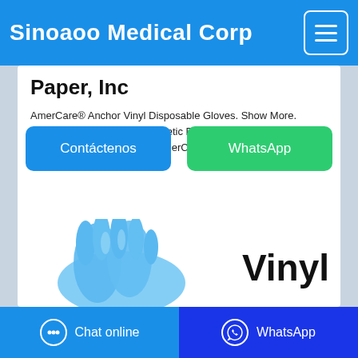Sinoaoo Medical Corp
Paper, Inc
AmerCare® Anchor Vinyl Disposable Gloves. Show More. AmerCare® Sensi-Flex Synthetic PVC Exam - Small AME-500-1. $41.77/CS. Add To Cart. AmerCare® Odyssey™ Blue Vinyl ...
[Figure (screenshot): Two action buttons: 'Contáctenos' in blue and 'WhatsApp' in green]
Vinyl
[Figure (photo): Blue vinyl gloves photograph at the bottom of the page]
Chat online | WhatsApp